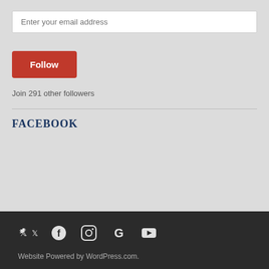Enter your email address
Follow
Join 291 other followers
Facebook
Website Powered by WordPress.com.